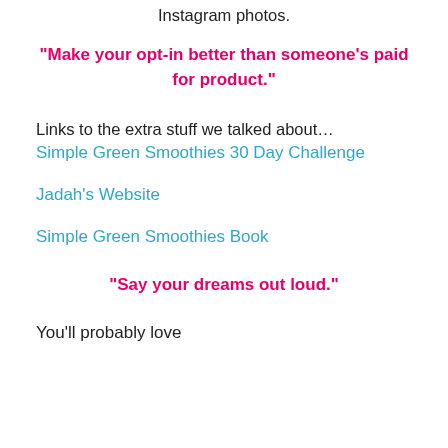Instagram photos.
“Make your opt-in better than someone’s paid for product.”
Links to the extra stuff we talked about…
Simple Green Smoothies 30 Day Challenge
Jadah’s Website
Simple Green Smoothies Book
“Say your dreams out loud.”
You’ll probably love